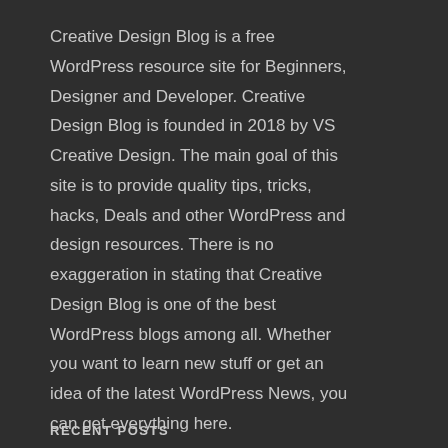Creative Design Blog is a free WordPress resource site for Beginners, Designer and Developer. Creative Design Blog is founded in 2018 by VS Creative Design. The main goal of this site is to provide quality tips, tricks, hacks, Deals and other WordPress and design resources. There is no exaggeration in stating that Creative Design Blog is one of the best WordPress blogs among all. Whether you want to learn new stuff or get an idea of the latest WordPress News, you can get everything here.
RECENT POSTS